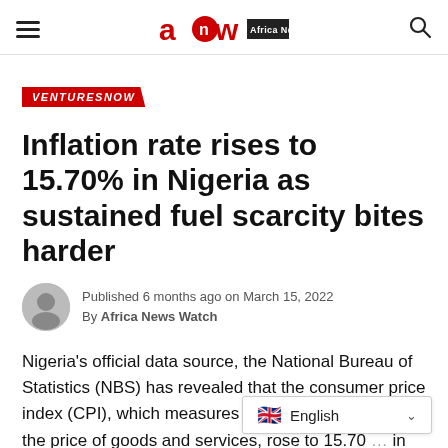Africa News Watch
VENTURESNOW
Inflation rate rises to 15.70% in Nigeria as sustained fuel scarcity bites harder
Published 6 months ago on March 15, 2022
By Africa News Watch
Nigeria's official data source, the National Bureau of Statistics (NBS) has revealed that the consumer price index (CPI), which measures the rate of increase in the price of goods and services, rose to 15.70... in February 2022, amid soaring fu...